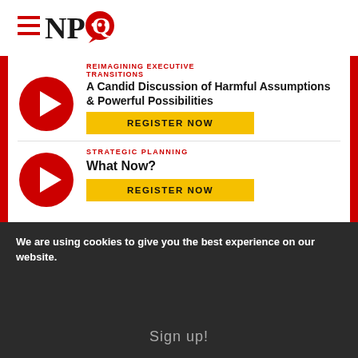NPQ
REIMAGINING EXECUTIVE TRANSITIONS
A Candid Discussion of Harmful Assumptions & Powerful Possibilities
REGISTER NOW
STRATEGIC PLANNING
What Now?
REGISTER NOW
We are using cookies to give you the best experience on our website.
Sign up!